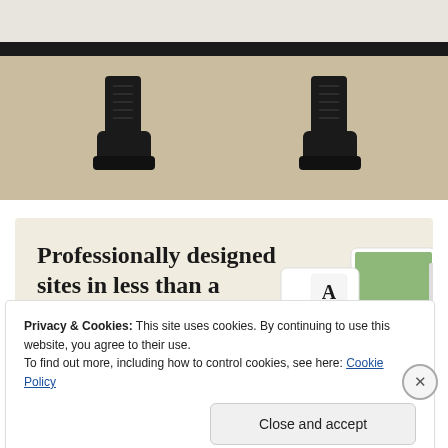[Figure (photo): Photograph showing a person's lower legs wearing black lace-up boots, standing on a beige/tan woven floor mat, with a dark baseboard visible behind them.]
[Figure (infographic): Advertisement banner with cream/beige background. Headline text reads 'Professionally designed sites in less than a week' with a green 'Explore options' button. Right side shows mockup screenshots of website designs.]
Privacy & Cookies: This site uses cookies. By continuing to use this website, you agree to their use.
To find out more, including how to control cookies, see here: Cookie Policy
Close and accept